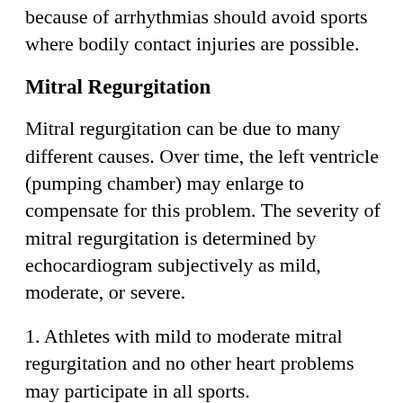because of arrhythmias should avoid sports where bodily contact injuries are possible.
Mitral Regurgitation
Mitral regurgitation can be due to many different causes. Over time, the left ventricle (pumping chamber) may enlarge to compensate for this problem. The severity of mitral regurgitation is determined by echocardiogram subjectively as mild, moderate, or severe.
1. Athletes with mild to moderate mitral regurgitation and no other heart problems may participate in all sports.
2. Athletes with mild to moderate mitral...